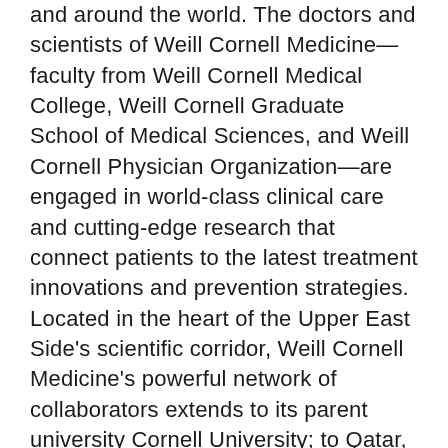and around the world. The doctors and scientists of Weill Cornell Medicine—faculty from Weill Cornell Medical College, Weill Cornell Graduate School of Medical Sciences, and Weill Cornell Physician Organization—are engaged in world-class clinical care and cutting-edge research that connect patients to the latest treatment innovations and prevention strategies. Located in the heart of the Upper East Side's scientific corridor, Weill Cornell Medicine's powerful network of collaborators extends to its parent university Cornell University; to Qatar, where an international campus offers a U.S. medical degree; and to programs in Tanzania, Haiti, Brazil, Austria and Turkey. Weill Cornell Medicine faculty provide comprehensive patient care at NewYork-Presbyterian Hospital/Weill Cornell Medical Center, NewYork-Presbyterian/Lower Manhattan Hospital and NewYork-Presbyterian/Queens. Weill